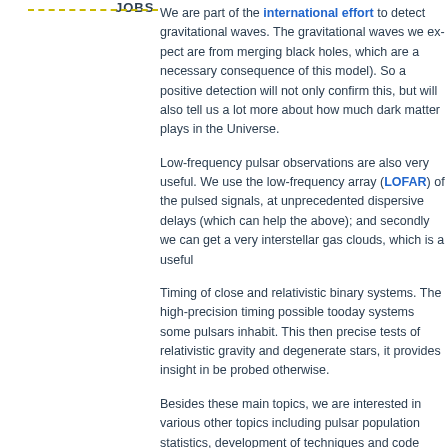JOBS
We are part of the international effort to detect gravitational waves. The gravitational waves we expect are from merging black holes, which are a necessary consequence of this model). So a positive detection will not only confirm this, but will also tell us a lot more about how much dark matter plays in the Universe.
Low-frequency pulsar observations are also very useful. We use the low-frequency array (LOFAR) of the pulsed signals, at unprecedented dispersive delays (which can help the above); and secondly we can get a very interstellar gas clouds, which is a useful
Timing of close and relativistic binary systems. The high-precision timing possible today systems some pulsars inhabit. This then precise tests of relativistic gravity and degenerate stars, it provides insight in be probed otherwise.
Besides these main topics, we are interested in various other topics including pulsar population statistics, development of techniques and code analysis.